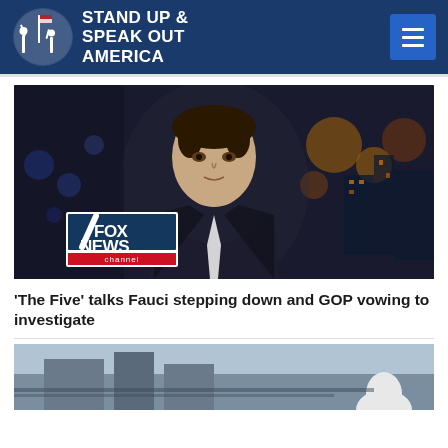STAND UP & SPEAK OUT AMERICA
[Figure (photo): Fox News anchor Jesse Watters on set with city skyline background and Fox News Channel logo overlay]
'The Five' talks Fauci stepping down and GOP vowing to investigate
[Figure (photo): Partial view of a second article image showing an outdoor scene]